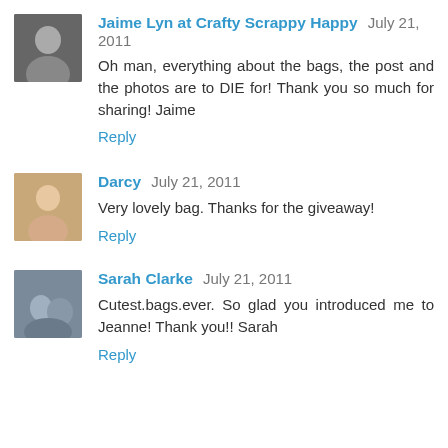Jaime Lyn at Crafty Scrappy Happy July 21, 2011
Oh man, everything about the bags, the post and the photos are to DIE for! Thank you so much for sharing! Jaime
Reply
Darcy July 21, 2011
Very lovely bag. Thanks for the giveaway!
Reply
Sarah Clarke July 21, 2011
Cutest.bags.ever. So glad you introduced me to Jeanne! Thank you!! Sarah
Reply